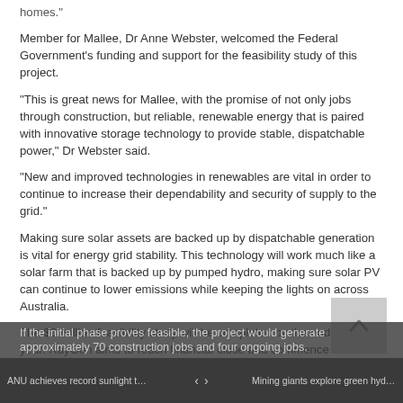homes."
Member for Mallee, Dr Anne Webster, welcomed the Federal Government's funding and support for the feasibility study of this project.
"This is great news for Mallee, with the promise of not only jobs through construction, but reliable, renewable energy that is paired with innovative storage technology to provide stable, dispatchable power," Dr Webster said.
"New and improved technologies in renewables are vital in order to continue to increase their dependability and security of supply to the grid."
Making sure solar assets are backed up by dispatchable generation is vital for energy grid stability. This technology will work much like a solar farm that is backed up by pumped hydro, making sure solar PV can continue to lower emissions while keeping the lights on across Australia.
The $6 million feasibility study will be completed by the end of the year. RayGen aims to reach financial close and commence construction of the plant by late 2020, and have the facility commissioned in 2021.
If the initial phase proves feasible, the project would generate approximately 70 construction jobs and four ongoing jobs.
ANU achieves record sunlight to energy ... < > Mining giants explore green hydrogen